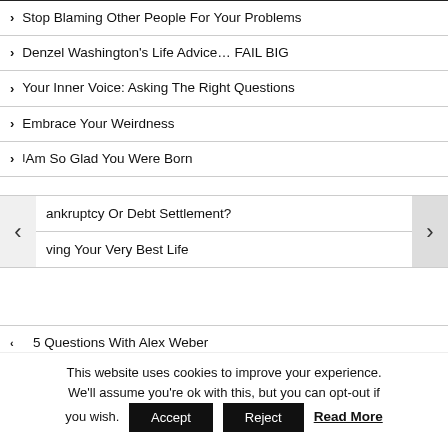Stop Blaming Other People For Your Problems
Denzel Washington's Life Advice… FAIL BIG
Your Inner Voice: Asking The Right Questions
Embrace Your Weirdness
I Am So Glad You Were Born
ankruptcy Or Debt Settlement?
ving Your Very Best Life
5 Questions With Alex Weber
10 Power Tips For A Better Life
Perseverance Pays Off
This website uses cookies to improve your experience. We'll assume you're ok with this, but you can opt-out if you wish. Accept Reject Read More